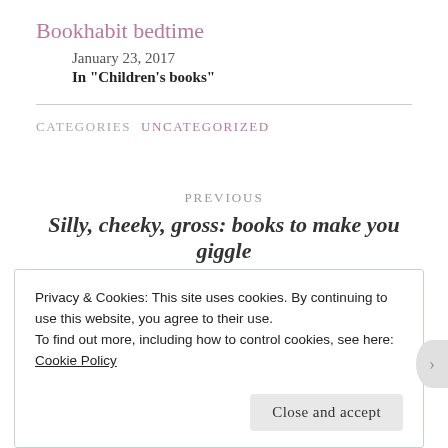Bookhabit bedtime
January 23, 2017
In "Children's books"
CATEGORIES  UNCATEGORIZED
PREVIOUS
Silly, cheeky, gross: books to make you giggle
Privacy & Cookies: This site uses cookies. By continuing to use this website, you agree to their use.
To find out more, including how to control cookies, see here:
Cookie Policy
Close and accept